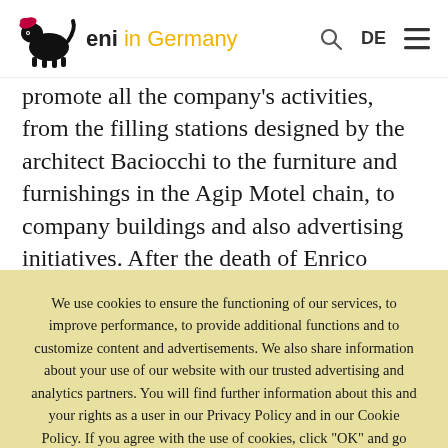eni in Germany
promote all the company's activities, from the filling stations designed by the architect Baciocchi to the furniture and furnishings in the Agip Motel chain, to company buildings and also advertising initiatives. After the death of Enrico Mattei, the company felt the need to restyle the corporate image, in
We use cookies to ensure the functioning of our services, to improve performance, to provide additional functions and to customize content and advertisements. We also share information about your use of our website with our trusted advertising and analytics partners. You will find further information about this and your rights as a user in our Privacy Policy and in our Cookie Policy. If you agree with the use of cookies, click "OK" and go directly to our website.